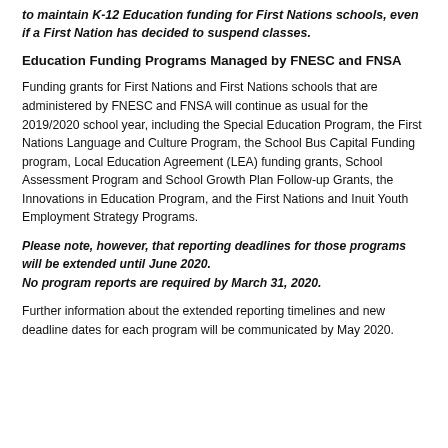to maintain K-12 Education funding for First Nations schools, even if a First Nation has decided to suspend classes.
Education Funding Programs Managed by FNESC and FNSA
Funding grants for First Nations and First Nations schools that are administered by FNESC and FNSA will continue as usual for the 2019/2020 school year, including the Special Education Program, the First Nations Language and Culture Program, the School Bus Capital Funding program, Local Education Agreement (LEA) funding grants, School Assessment Program and School Growth Plan Follow-up Grants, the Innovations in Education Program, and the First Nations and Inuit Youth Employment Strategy Programs.
Please note, however, that reporting deadlines for those programs will be extended until June 2020.
No program reports are required by March 31, 2020.
Further information about the extended reporting timelines and new deadline dates for each program will be communicated by May 2020.